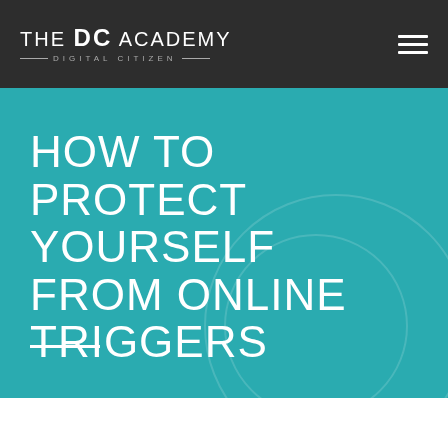[Figure (logo): The DC Academy - Digital Citizen logo in white on dark background with hamburger menu icon]
HOW TO PROTECT YOURSELF FROM ONLINE TRIGGERS